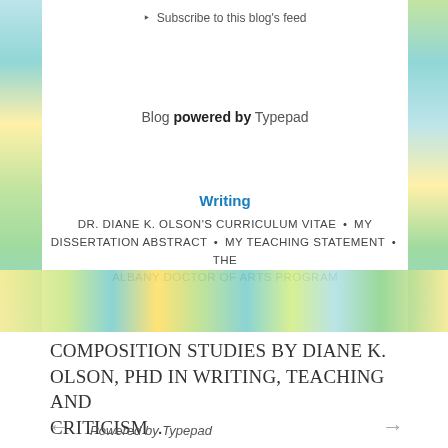Subscribe to this blog's feed
Blog powered by Typepad
Writing
DR. DIANE K. OLSON'S CURRICULUM VITAE • MY DISSERTATION ABSTRACT • MY TEACHING STATEMENT • THE ALBANY DOCTOR OF ARTS PROGRAM
COMPOSITION STUDIES BY DIANE K. OLSON, PHD IN WRITING, TEACHING AND CRITICISM .
Powered by Typepad